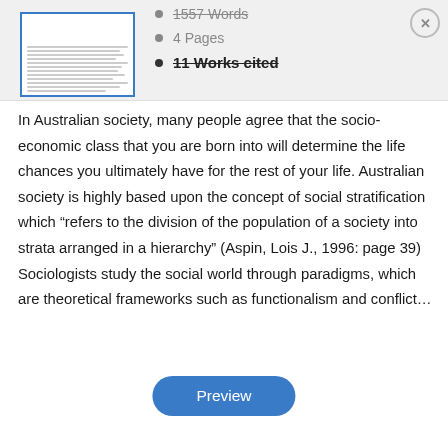[Figure (screenshot): Thumbnail preview of a document page with blue border]
1557 Words
4 Pages
11 Works cited
In Australian society, many people agree that the socio-economic class that you are born into will determine the life chances you ultimately have for the rest of your life. Australian society is highly based upon the concept of social stratification which “refers to the division of the population of a society into strata arranged in a hierarchy” (Aspin, Lois J., 1996: page 39) Sociologists study the social world through paradigms, which are theoretical frameworks such as functionalism and conflict…